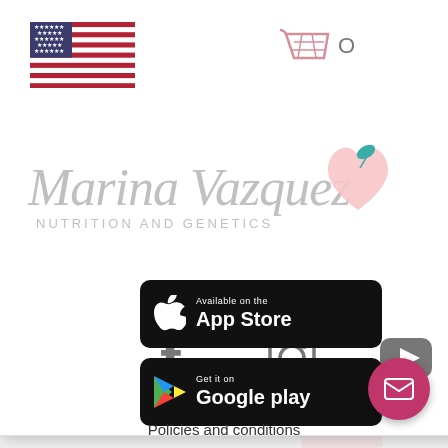[Figure (screenshot): Website navigation panel for Marina Vazquez Nutrition and Genetics. Shows US flag, shopping cart, hamburger menu, logo with cursive text and heart/peach icon, social media icons (Facebook, Instagram, YouTube), and partial blue hyperlinks on the right side.]
[Figure (logo): Apple App Store download button - black rounded rectangle with Apple logo and 'Available on the App Store' text]
[Figure (logo): Google Play download button - black rounded rectangle with Play Store triangle logo and 'Get it on Google play' text]
Policies and conditions
[Figure (other): Pink circular email/contact button (FAB) with white envelope icon]